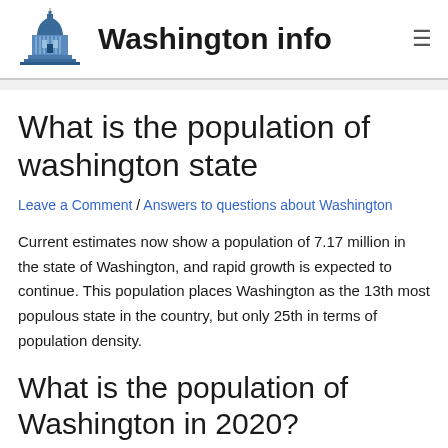Washington info
What is the population of washington state
Leave a Comment / Answers to questions about Washington
Current estimates now show a population of 7.17 million in the state of Washington, and rapid growth is expected to continue. This population places Washington as the 13th most populous state in the country, but only 25th in terms of population density.
What is the population of Washington in 2020?